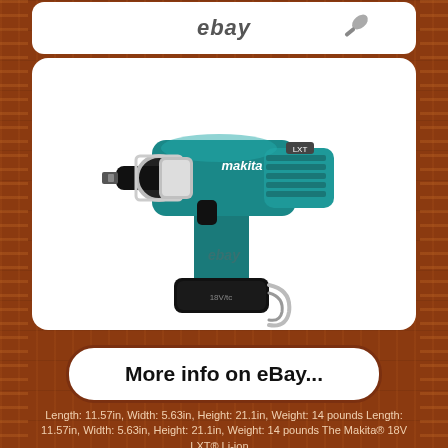[Figure (screenshot): eBay logo/text on white rounded rectangle banner at top]
[Figure (photo): Makita 18V LXT cordless impact wrench in teal/black color with battery attached, shown on white background with eBay watermark]
More info on eBay...
Length: 11.57in, Width: 5.63in, Height: 21.1in, Weight: 14 pounds Length: 11.57in, Width: 5.63in, Height: 21.1in, Weight: 14 pounds The Makita® 18V LXT® Li-ion...